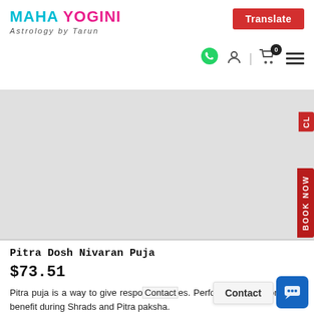MAHA YOGINI Astrology by Tarun | Translate button, navigation icons
[Figure (photo): Product image area (light gray placeholder) for Pitra Dosh Nivaran Puja with BOOK NOW side tab and CL tab on the right edge]
Pitra Dosh Nivaran Puja
$73.51
Pitra puja is a way to give respe... Perform this puja for family benefit during Shrads and Pitra paksha.